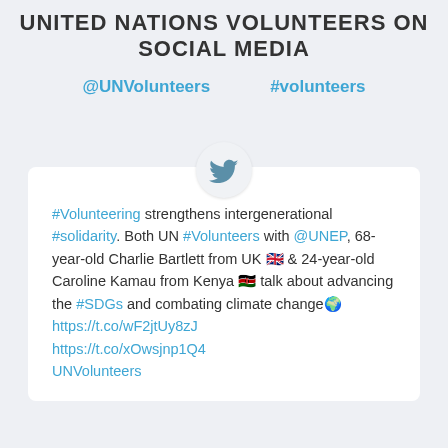UNITED NATIONS VOLUNTEERS ON SOCIAL MEDIA
@UNVolunteers    #volunteers
[Figure (logo): Twitter bird logo in a light circular badge]
#Volunteering strengthens intergenerational #solidarity. Both UN #Volunteers with @UNEP, 68-year-old Charlie Bartlett from UK 🇬🇧 & 24-year-old Caroline Kamau from Kenya 🇰🇪 talk about advancing the #SDGs and combating climate change🌍 https://t.co/wF2jtUy8zJ https://t.co/xOwsjnp1Q4 UNVolunteers